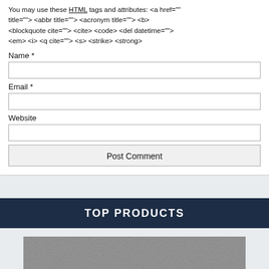You may use these HTML tags and attributes: <a href="" title=""> <abbr title=""> <acronym title=""> <b> <blockquote cite=""> <cite> <code> <del datetime=""> <em> <i> <q cite=""> <s> <strike> <strong>
Name *
Email *
Website
Post Comment
TOP PRODUCTS
[Figure (photo): Product photo showing a red fishing lure/hook on a grey concrete or asphalt textured surface]